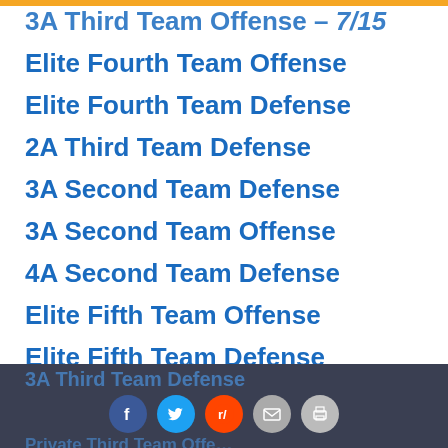3A Third Team Offense – 7/15
Elite Fourth Team Offense
Elite Fourth Team Defense
2A Third Team Defense
3A Second Team Defense
3A Second Team Offense
4A Second Team Defense
Elite Fifth Team Offense
Elite Fifth Team Defense
4A Second Team Offense
4A Third Team Defense
3A Third Team Offense
3A Third Team Defense | Private Third Team Offense | Social share icons